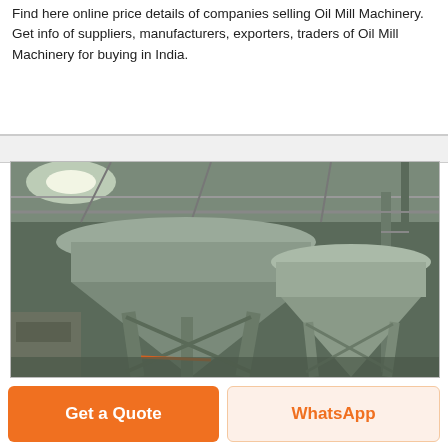Find here online price details of companies selling Oil Mill Machinery. Get info of suppliers, manufacturers, exporters, traders of Oil Mill Machinery for buying in India.
[Figure (photo): Industrial oil mill machinery inside a factory — large conical metal silos/tanks on structural steel frames under a warehouse roof with overhead lighting]
Get a Quote
WhatsApp